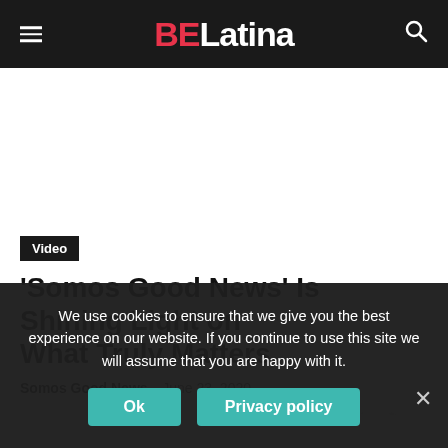BELatina
[Figure (other): Advertisement/blank area]
Video
'Somos Good News' Is Shining Light on What Truly Matters
Somos Good News - June 23, 2020
We use cookies to ensure that we give you the best experience on our website. If you continue to use this site we will assume that you are happy with it.
Ok
Privacy policy